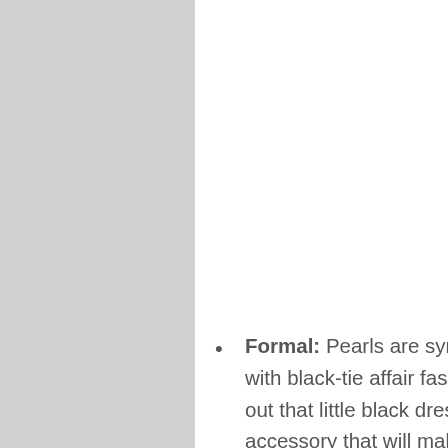Formal: Pearls are synonymous for going with black-tie affair fashion. When you break out that little black dress there is no other accessory that will make it look better that a nice string of pearls. But instead of over dressing